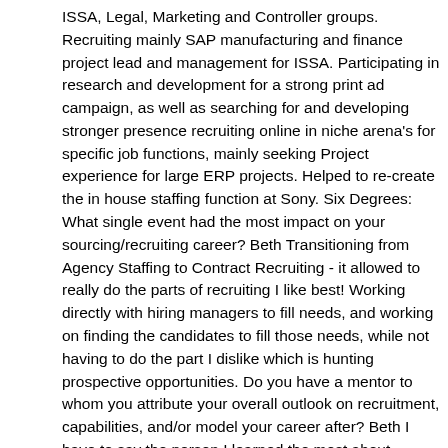ISSA, Legal, Marketing and Controller groups. Recruiting mainly SAP manufacturing and finance project lead and management for ISSA. Participating in research and development for a strong print ad campaign, as well as searching for and developing stronger presence recruiting online in niche arena's for specific job functions, mainly seeking Project experience for large ERP projects. Helped to re-create the in house staffing function at Sony. Six Degrees: What single event had the most impact on your sourcing/recruiting career? Beth Transitioning from Agency Staffing to Contract Recruiting - it allowed to really do the parts of recruiting I like best! Working directly with hiring managers to fill needs, and working on finding the candidates to fill those needs, while not having to do the part I dislike which is hunting prospective opportunities. Do you have a mentor to whom you attribute your overall outlook on recruitment, capabilities, and/or model your career after? Beth I have to say the person I learned the most about recruiting and business in general from, was Marv Hoffman. Marv not only provided a great deal of recruiting training, but encouraged his recruiting teams to participate in groups that they could learn more from. For instance while working with XXCAL I belonged to several users groups that were great souring pools. (NT users group and a VB Test group for example) We attended recruiting conferences and Marv had his own training sessions as well. It would have been hard to spend length of time in that group and NOT learn a great deal. Six Degrees: Tell us about your position, (responsibilities, size of your staffing organization) : Beth Currently I am doing freelance work, taking on